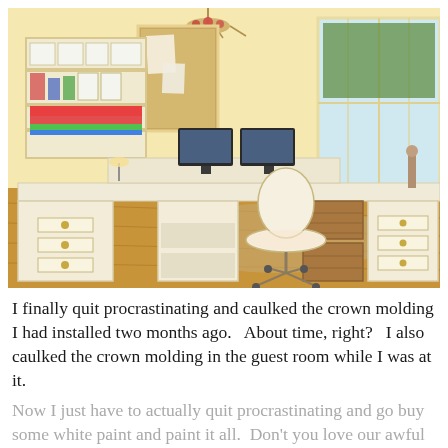[Figure (photo): A bright home office/craft room with white U-shaped desk setup, wall-mounted shelving with craft supplies and colorful fabric rolls, cork bulletin board, dual monitors, white rolling office chair, wicker baskets, file drawers, wood floor, large windows with natural light, and a floral chandelier.]
I finally quit procrastinating and caulked the crown molding I had installed two months ago.   About time, right?  I also caulked the crown molding in the guest room while I was at it. Now I just have to actually quit procrastinating and go buy some white paint and paint it all.  Don't you love our awful "popcorn" ceilings here in the south?  Ugh.  They built them